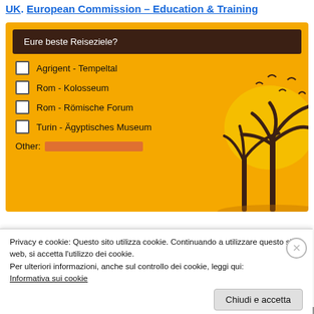UK. European Commission – Education & Training
[Figure (screenshot): Survey form with orange background and palm tree/sunset illustration. Shows question 'Eure beste Reiseziele?' with four checkbox options: Agrigent - Tempeltal, Rom - Kolosseum, Rom - Römische Forum, Turin - Ägyptisches Museum, and an 'Other:' text input field.]
Privacy e cookie: Questo sito utilizza cookie. Continuando a utilizzare questo sito web, si accetta l'utilizzo dei cookie.
Per ulteriori informazioni, anche sul controllo dei cookie, leggi qui:
Informativa sui cookie
Chiudi e accetta